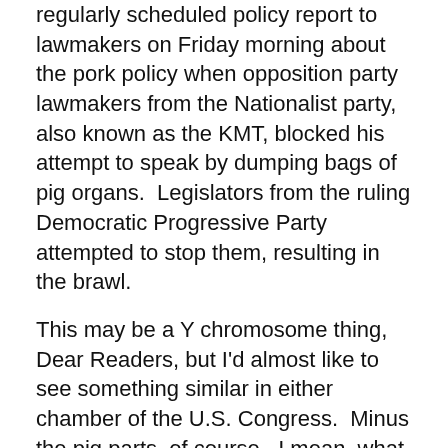regularly scheduled policy report to lawmakers on Friday morning about the pork policy when opposition party lawmakers from the Nationalist party, also known as the KMT, blocked his attempt to speak by dumping bags of pig organs.  Legislators from the ruling Democratic Progressive Party attempted to stop them, resulting in the brawl.
This may be a Y chromosome thing, Dear Readers, but I'd almost like to see something similar in either chamber of the U.S. Congress.  Minus the pig parts, of course.  I mean, what a waste!
[Figure (screenshot): Video thumbnail screenshot of a YouTube video titled 'Pig guts fly in Taiwan parliament pr...' showing a crowd of people in what appears to be a parliament brawl scene. The thumbnail has a dark overlay bar at the top with the video title, a circular logo with yellow and blue halves on the left, and a three-dot menu icon on the right. A red strip runs along the bottom.]